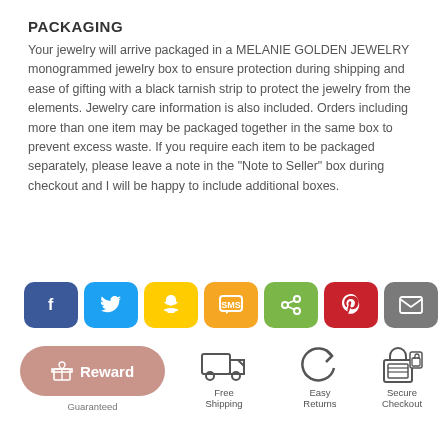PACKAGING
Your jewelry will arrive packaged in a MELANIE GOLDEN JEWELRY monogrammed jewelry box to ensure protection during shipping and ease of gifting with a black tarnish strip to protect the jewelry from the elements. Jewelry care information is also included. Orders including more than one item may be packaged together in the same box to prevent excess waste. If you require each item to be packaged separately, please leave a note in the "Note to Seller" box during checkout and I will be happy to include additional boxes.
[Figure (infographic): Row of 7 social sharing buttons: Facebook (blue), Twitter (light blue), Snapchat (yellow), SMS (orange), Share (green), Pinterest (red), Email (grey)]
[Figure (infographic): Bottom row icons: Reward pill button (pink/mauve), Guaranteed text, Free Shipping icon with truck, Easy Returns icon with arrow, Secure Checkout icon with lock]